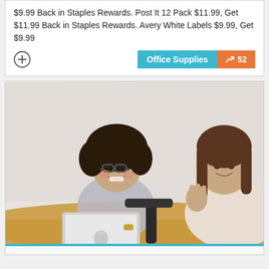$9.99 Back in Staples Rewards. Post It 12 Pack $11.99, Get $11.99 Back in Staples Rewards. Avery White Labels $9.99, Get $9.99
[Figure (other): Office Supplies category badge (teal) and trending badge with 52 (orange)]
[Figure (photo): Two women in a meeting setting; one with curly hair and glasses laughing with a laptop in front of her, another woman in the background gesturing with her hand]